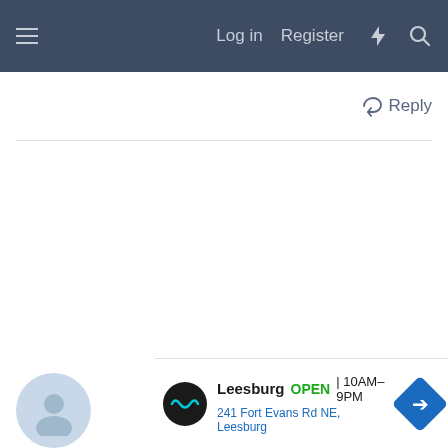≡  Log in  Register  ⚡  🔍
↩ Reply
[Figure (screenshot): Empty white content area below a forum reply button and horizontal divider]
[Figure (screenshot): Advertisement banner: Leesburg OPEN 10AM–9PM, 241 Fort Evans Rd NE, Leesburg with navigation diamond icon]